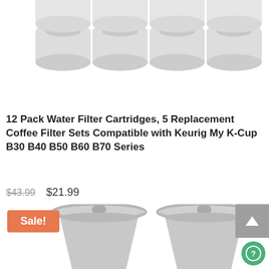[Figure (photo): Grid of 8 white water filter cartridges arranged in 2 rows of 4, shown from above on white background]
12 Pack Water Filter Cartridges, 5 Replacement Coffee Filter Sets Compatible with Keurig My K-Cup B30 B40 B50 B60 B70 Series
$43.99 $21.99
[Figure (photo): Two gray Keurig My K-Cup reusable coffee filter holders shown side by side with a Sale! badge overlay in the top left corner]